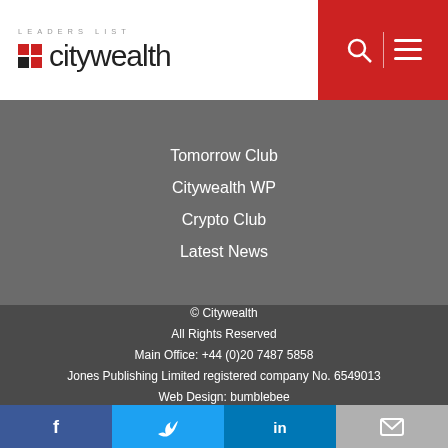LEADERS LIST citywealth
Tomorrow Club
Citywealth WP
Crypto Club
Latest News
[Figure (illustration): Social media icons row: LinkedIn, Twitter, Facebook, Instagram, Snapchat, YouTube — white icons on black circles]
© Citywealth
All Rights Reserved
Main Office: +44 (0)20 7487 5858
Jones Publishing Limited registered company No. 6549013
Web Design: bumblebee
[Figure (illustration): Share bar with Facebook, Twitter, LinkedIn and email icons]